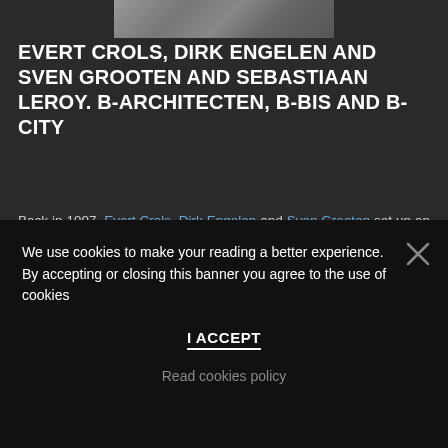[Figure (photo): Black and white photo of three people (partially visible at top of page)]
EVERT CROLS, DIRK ENGELEN AND SVEN GROOTEN AND SEBASTIAAN LEROY. B-ARCHITECTEN, B-BIS AND B-CITY
Back in 1997, Evert Crols, Dirk Engelen and Sven Grooten set up an independent office for architecture: B-architecten was born. The three had met during their education in Antwerp and
We use cookies to make your reading a better experience. By accepting or closing this banner you agree to the use of cookies
I ACCEPT
Read cookies policy